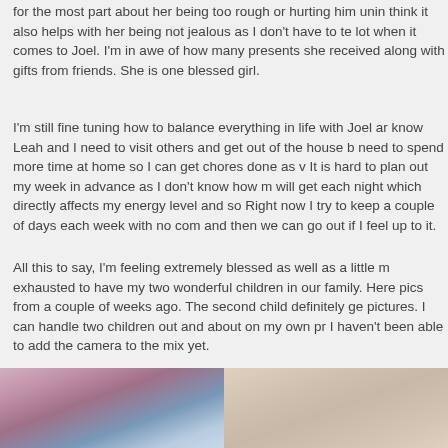for the most part about her being too rough or hurting him unin think it also helps with her being not jealous as I don't have to te lot when it comes to Joel. I'm in awe of how many presents she received along with gifts from friends. She is one blessed girl.
I'm still fine tuning how to balance everything in life with Joel ar know Leah and I need to visit others and get out of the house b need to spend more time at home so I can get chores done as v It is hard to plan out my week in advance as I don't know how m will get each night which directly affects my energy level and so Right now I try to keep a couple of days each week with no com and then we can go out if I feel up to it.
All this to say, I'm feeling extremely blessed as well as a little m exhausted to have my two wonderful children in our family. Here pics from a couple of weeks ago. The second child definitely ge pictures. I can handle two children out and about on my own pr I haven't been able to add the camera to the mix yet.
[Figure (photo): Photo of a child, left side of two-photo row at bottom of page]
[Figure (photo): Photo of a child, right side of two-photo row at bottom of page]